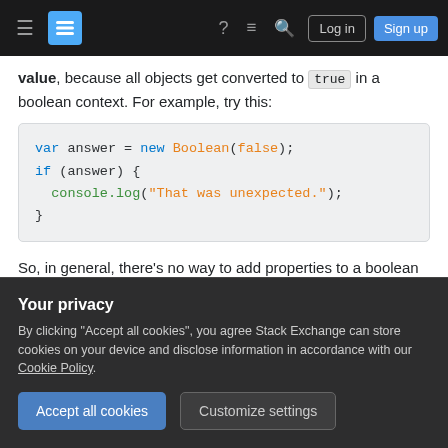Stack Exchange navigation bar with hamburger, logo, help, comments, search, Log in, Sign up
value, because all objects get converted to true in a boolean context. For example, try this:
[Figure (screenshot): Code block showing: var answer = new Boolean(false); if (answer) { console.log("That was unexpected."); }]
So, in general, there's no way to add properties to a boolean in JavaScript that still lets it behave in a logical way. Modernizr can get away with it because
Your privacy
By clicking "Accept all cookies", you agree Stack Exchange can store cookies on your device and disclose information in accordance with our Cookie Policy.
Accept all cookies | Customize settings